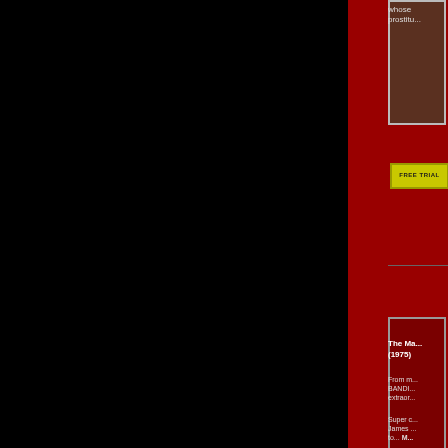[Figure (photo): Movie cover/poster image at top, partially visible]
[Figure (screenshot): FREE TRIAL button - yellow/gold colored button]
whose prostitu...
The Ma... (1975)
From m... BANDI... extraor...
Super c... James ... to... M...
[Figure (photo): Second movie image placeholder - red background]
[Figure (screenshot): FREE TRIAL button - yellow/gold colored button]
Kung F... (2004)
Stephe... his new... FU HU... sequen... outrage...
[Figure (photo): Third movie image placeholder - red background]